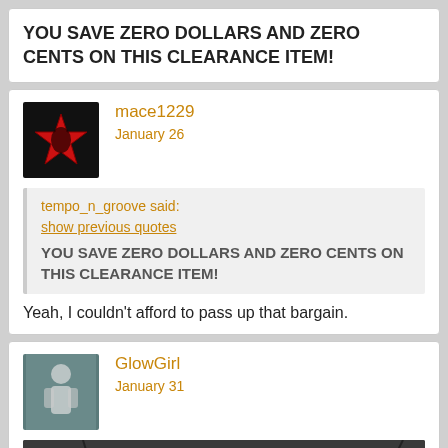YOU SAVE ZERO DOLLARS AND ZERO CENTS ON THIS CLEARANCE ITEM!
mace1229
January 26
tempo_n_groove said:
show previous quotes
YOU SAVE ZERO DOLLARS AND ZERO CENTS ON THIS CLEARANCE ITEM!
Yeah, I couldn't afford to pass up that bargain.
GlowGirl
January 31
[Figure (photo): A sign partially visible reading 'IF CATS COULD' against a dark sky background]